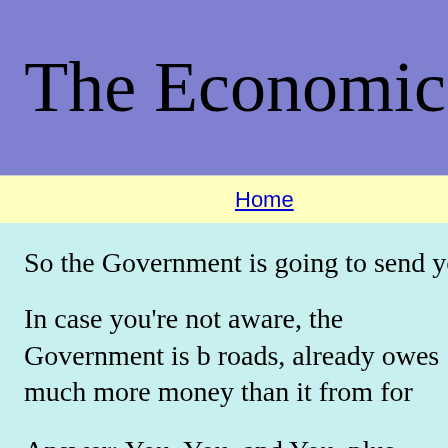The Economic
Home
So the Government is going to send you a che
In case you're not aware, the Government is b roads, already owes much more money than it from for these payments?
Answer: You, You, and You, plus future gener has to borrow this money. So starting next yea
But you might as well take it, everyone else su